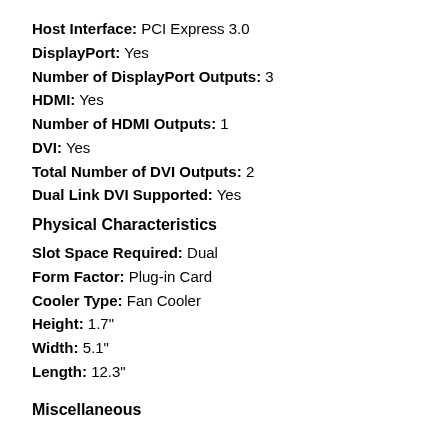Host Interface:  PCI Express 3.0
DisplayPort:  Yes
Number of DisplayPort Outputs:  3
HDMI:  Yes
Number of HDMI Outputs:  1
DVI:  Yes
Total Number of DVI Outputs:  2
Dual Link DVI Supported:  Yes
Physical Characteristics
Slot Space Required:  Dual
Form Factor:  Plug-in Card
Cooler Type:  Fan Cooler
Height:  1.7"
Width:  5.1"
Length:  12.3"
Miscellaneous